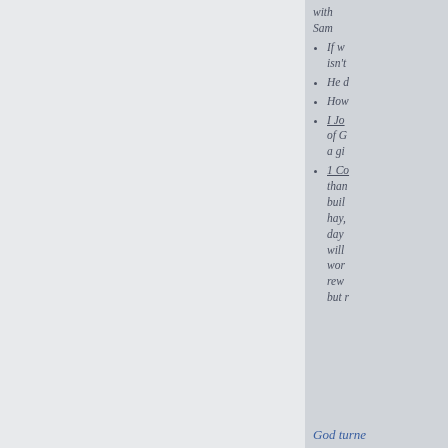with Sam
If we isn't
He d
How
I Jo of G a gi
1 Co than buil hay, day will wor rew but r
God turne